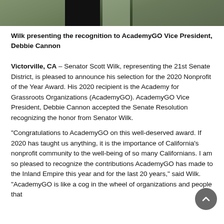[Figure (photo): Partial photo of people outdoors, cropped to show lower portion, with dark and green background tones.]
Wilk presenting the recognition to AcademyGO Vice President, Debbie Cannon
Victorville, CA – Senator Scott Wilk, representing the 21st Senate District, is pleased to announce his selection for the 2020 Nonprofit of the Year Award. His 2020 recipient is the Academy for Grassroots Organizations (AcademyGO). AcademyGO Vice President, Debbie Cannon accepted the Senate Resolution recognizing the honor from Senator Wilk.
"Congratulations to AcademyGO on this well-deserved award. If 2020 has taught us anything, it is the importance of California's nonprofit community to the well-being of so many Californians. I am so pleased to recognize the contributions AcademyGO has made to the Inland Empire this year and for the last 20 years," said Wilk. "AcademyGO is like a cog in the wheel of organizations and people that